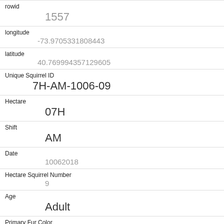| Field | Value |
| --- | --- |
| rowid | 1557 |
| longitude | -73.9705331808443 |
| latitude | 40.769994357129605 |
| Unique Squirrel ID | 7H-AM-1006-09 |
| Hectare | 07H |
| Shift | AM |
| Date | 10062018 |
| Hectare Squirrel Number | 9 |
| Age | Adult |
| Primary Fur Color | Gray |
| Highlight Fur Color |  |